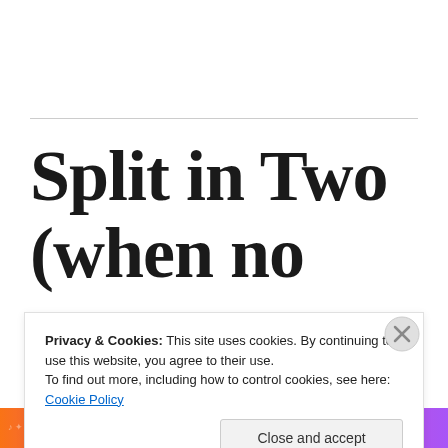Split in Two (when no
Privacy & Cookies: This site uses cookies. By continuing to use this website, you agree to their use.
To find out more, including how to control cookies, see here: Cookie Policy
Close and accept